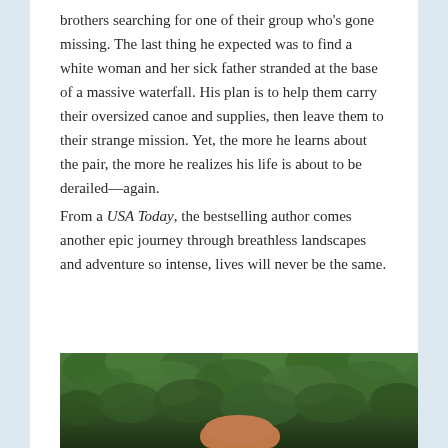brothers searching for one of their group who's gone missing. The last thing he expected was to find a white woman and her sick father stranded at the base of a massive waterfall. His plan is to help them carry their oversized canoe and supplies, then leave them to their strange mission. Yet, the more he learns about the pair, the more he realizes his life is about to be derailed—again.
From a USA Today, the bestselling author comes another epic journey through breathless landscapes and adventure so intense, lives will never be the same.
[Figure (photo): Partial photo showing dense green foliage/bushes in background with what appears to be hands or a person visible at the bottom of the frame]